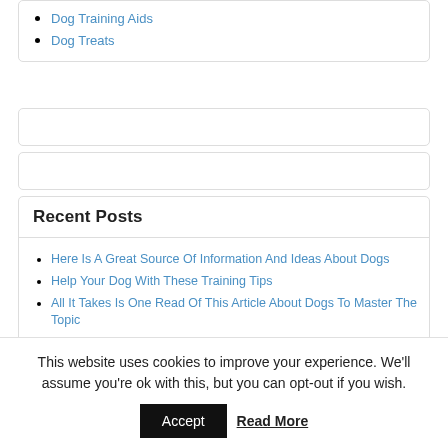Dog Training Aids
Dog Treats
Recent Posts
Here Is A Great Source Of Information And Ideas About Dogs
Help Your Dog With These Training Tips
All It Takes Is One Read Of This Article About Dogs To Master The Topic
Check Out These Wonder Tips About Dogs In The Article Below
Train Your Dog With These Helpful Hints
This website uses cookies to improve your experience. We'll assume you're ok with this, but you can opt-out if you wish.